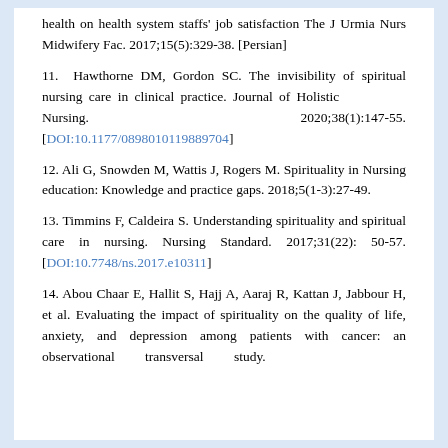health on health system staffs' job satisfaction The J Urmia Nurs Midwifery Fac. 2017;15(5):329-38. [Persian]
11. Hawthorne DM, Gordon SC. The invisibility of spiritual nursing care in clinical practice. Journal of Holistic Nursing. 2020;38(1):147-55. [DOI:10.1177/0898010119889704]
12. Ali G, Snowden M, Wattis J, Rogers M. Spirituality in Nursing education: Knowledge and practice gaps. 2018;5(1-3):27-49.
13. Timmins F, Caldeira S. Understanding spirituality and spiritual care in nursing. Nursing Standard. 2017;31(22): 50-57. [DOI:10.7748/ns.2017.e10311]
14. Abou Chaar E, Hallit S, Hajj A, Aaraj R, Kattan J, Jabbour H, et al. Evaluating the impact of spirituality on the quality of life, anxiety, and depression among patients with cancer: an observational transversal study.